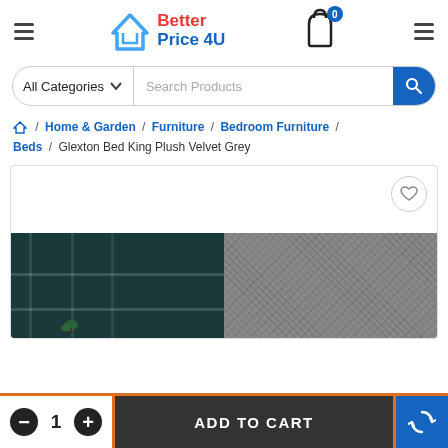[Figure (logo): Better Price 4U logo with house/chevron icon in blue and red text]
[Figure (screenshot): Shopping cart icon with badge showing 0 items]
All Categories  Search Products
Home & Garden / Furniture / Bedroom Furniture / Beds / Glexton Bed King Plush Velvet Grey
[Figure (photo): Product image area showing bedroom furniture on dark background and grey velvet texture]
ADD TO CART